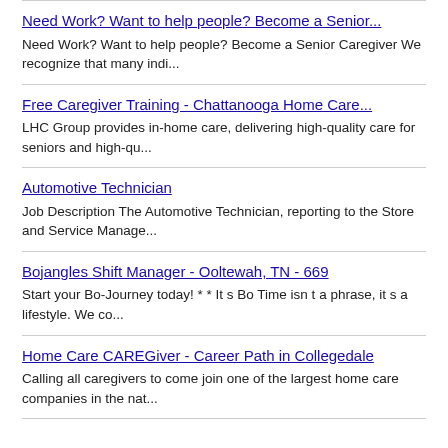Need Work? Want to help people? Become a Senior...
Need Work? Want to help people? Become a Senior Caregiver We recognize that many indi...
Free Caregiver Training - Chattanooga Home Care...
LHC Group provides in-home care, delivering high-quality care for seniors and high-qu...
Automotive Technician
Job Description The Automotive Technician, reporting to the Store and Service Manage...
Bojangles Shift Manager - Ooltewah, TN - 669
Start your Bo-Journey today! * * It s Bo Time isn t a phrase, it s a lifestyle. We co...
Home Care CAREGiver - Career Path in Collegedale
Calling all caregivers to come join one of the largest home care companies in the nat...